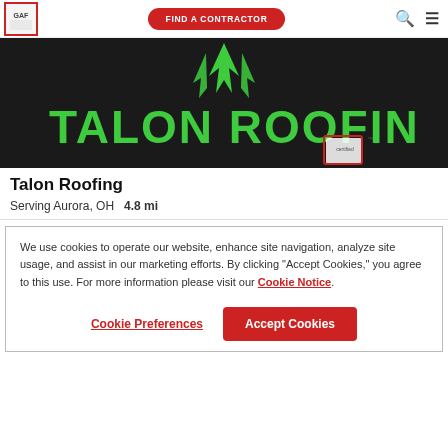GAF | FIND A CONTRACTOR
[Figure (logo): Talon Roofing company logo on black background with large green text TALON ROOFING and a green bird claw/talon graphic above. A certified badge appears in the lower right corner.]
Talon Roofing
Serving Aurora, OH   4.8 mi
We use cookies to operate our website, enhance site navigation, analyze site usage, and assist in our marketing efforts. By clicking "Accept Cookies," you agree to this use. For more information please visit our Cookie Notice.
Cookie Preferences | Accept Cookies